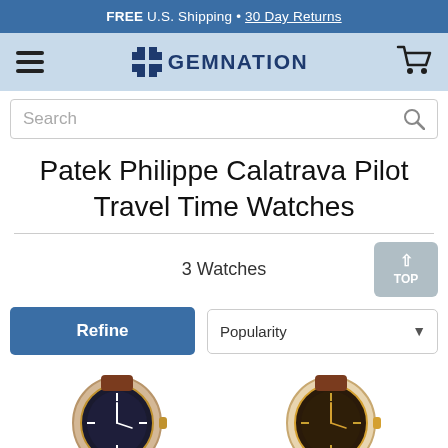FREE U.S. Shipping • 30 Day Returns
[Figure (screenshot): Gemnation navigation bar with hamburger menu, logo, and cart icon on light blue background]
Search
Patek Philippe Calatrava Pilot Travel Time Watches
3 Watches
Refine
Popularity
[Figure (photo): Two Patek Philippe Calatrava Pilot Travel Time watches with brown leather straps, partially visible at the bottom of the page]